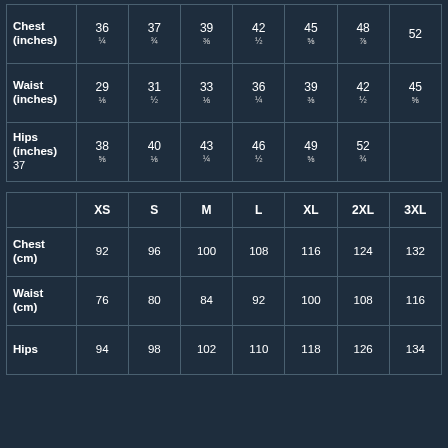|  | XS | S | M | L | XL | 2XL | 3XL |
| --- | --- | --- | --- | --- | --- | --- | --- |
| Chest (inches) | 36 ¼ | 37 ¾ | 39 ⅜ | 42 ½ | 45 ⅝ | 48 ⅞ | 52 |
| Waist (inches) | 29 ⅛ | 31 ½ | 33 ⅛ | 36 ¼ | 39 ⅜ | 42 ½ | 45 ⅝ |
| Hips (inches) | 37 ⅝ | 38 ⅝ | 40 ⅛ | 43 ¼ | 46 ½ | 49 ⅝ | 52 ¾ |
|  | XS | S | M | L | XL | 2XL | 3XL |
| --- | --- | --- | --- | --- | --- | --- | --- |
| Chest (cm) | 92 | 96 | 100 | 108 | 116 | 124 | 132 |
| Waist (cm) | 76 | 80 | 84 | 92 | 100 | 108 | 116 |
| Hips (cm) | 94 | 98 | 102 | 110 | 118 | 126 | 134 |